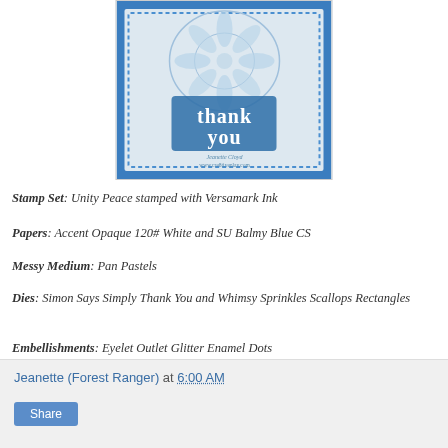[Figure (photo): A handmade thank you card with blue floral stamped background, 'thank you' die-cut letters, scalloped rectangle border. Watermark reads 'Jeanette Cloyd www.cre8tiveplay.com']
Stamp Set: Unity Peace stamped with Versamark Ink
Papers: Accent Opaque 120# White and SU Balmy Blue CS
Messy Medium: Pan Pastels
Dies: Simon Says Simply Thank You and Whimsy Sprinkles Scallops Rectangles
Embellishments: Eyelet Outlet Glitter Enamel Dots
Jeanette (Forest Ranger) at 6:00 AM
Share